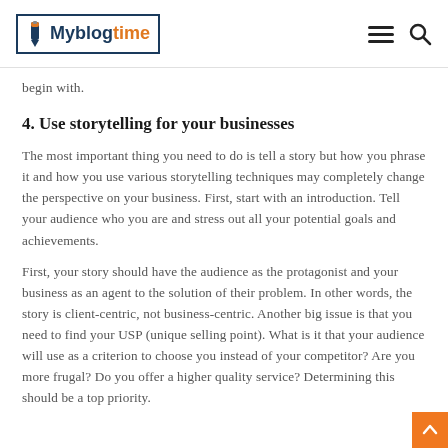Myblogtime
begin with.
4. Use storytelling for your businesses
The most important thing you need to do is tell a story but how you phrase it and how you use various storytelling techniques may completely change the perspective on your business. First, start with an introduction. Tell your audience who you are and stress out all your potential goals and achievements.
First, your story should have the audience as the protagonist and your business as an agent to the solution of their problem. In other words, the story is client-centric, not business-centric. Another big issue is that you need to find your USP (unique selling point). What is it that your audience will use as a criterion to choose you instead of your competitor? Are you more frugal? Do you offer a higher quality service? Determining this should be a top priority.